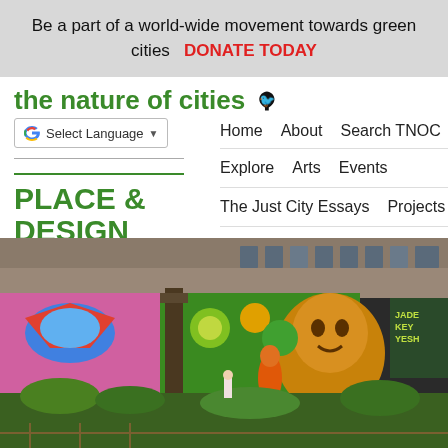Be a part of a world-wide movement towards green cities   DONATE TODAY
the nature of cities
Select Language
Home   About   Search TNOC
Explore   Arts   Events
The Just City Essays   Projects
PLACE & DESIGN
Support TNOC
[Figure (photo): Colorful street mural on a building wall with vibrant graffiti art featuring figures and faces in green, orange, blue, and pink colors. In the foreground there is a tree trunk and green garden plants, with a person visible near the mural.]